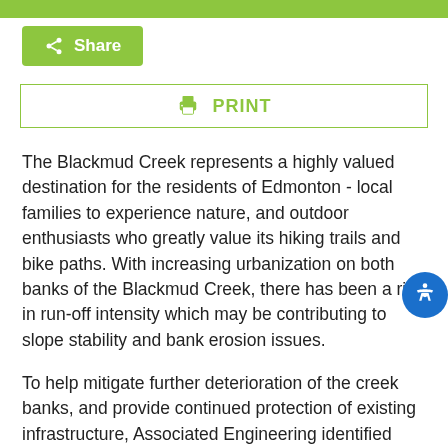Share
PRINT
The Blackmud Creek represents a highly valued destination for the residents of Edmonton - local families to experience nature, and outdoor enthusiasts who greatly value its hiking trails and bike paths. With increasing urbanization on both banks of the Blackmud Creek, there has been a rise in run-off intensity which may be contributing to slope stability and bank erosion issues.
To help mitigate further deterioration of the creek banks, and provide continued protection of existing infrastructure, Associated Engineering identified four erosion sites requiring rehabilitation to improve bank